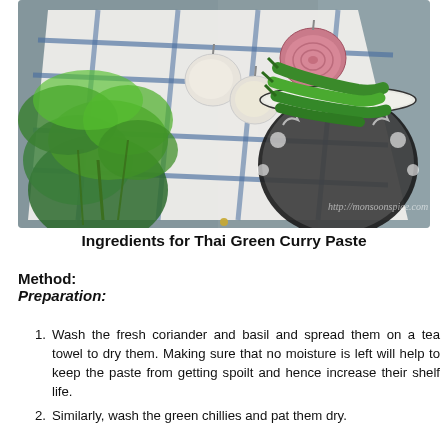[Figure (photo): Overhead flat-lay photo of Thai green curry paste ingredients on a blue-checkered white tea towel: fresh coriander/cilantro, small white onions, a halved shallot, and green chillies in a decorative black-and-white patterned bowl, on a grey stone surface. Watermark reads http://monsoonspice.com]
Ingredients for Thai Green Curry Paste
Method:
Preparation:
Wash the fresh coriander and basil and spread them on a tea towel to dry them. Making sure that no moisture is left will help to keep the paste from getting spoilt and hence increase their shelf life.
Similarly, wash the green chillies and pat them dry.